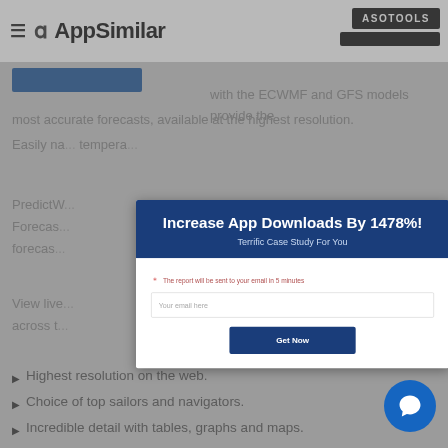AppSimilar | ASOTOOLS
with the ECWMF and GFS models provide the most accurate forecasts, available at the highest resolution. Easily navigate and filter 10 days of hourly wind, temperature
PredictWind ... and Forecasts ... forecasts
View live ... across t
[Figure (screenshot): Modal popup overlay on AppSimilar website page. Modal shows 'Increase App Downloads By 1478%!' title with subtitle 'Terrific Case Study For You', email input field with placeholder 'Your email here', and a 'Get Now' button. Background shows dimmed webpage content.]
Highest resolution on the web.
Choice of top sailors and navigators.
Incredible detail with tables, graphs and maps.